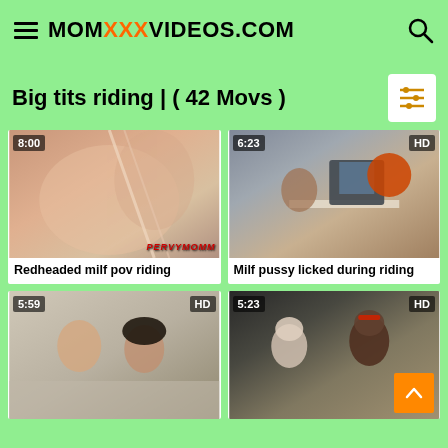MOMXXXVIDEOS.COM
Big tits riding | ( 42 Movs )
[Figure (screenshot): Video thumbnail: Redheaded milf pov riding, duration 8:00]
Redheaded milf pov riding
[Figure (screenshot): Video thumbnail: Milf pussy licked during riding, duration 6:23, HD]
Milf pussy licked during riding
[Figure (screenshot): Video thumbnail, duration 5:59, HD]
[Figure (screenshot): Video thumbnail, duration 5:23, HD]